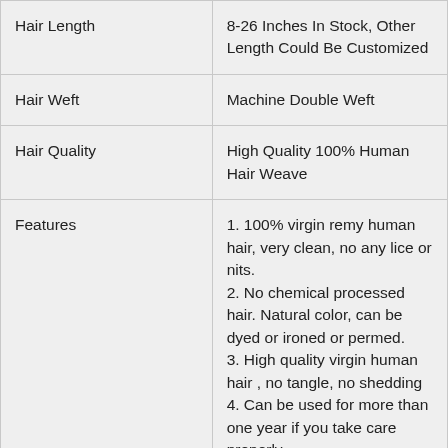|  |  |
| --- | --- |
| Hair Length | 8-26 Inches In Stock, Other Length Could Be Customized |
| Hair Weft | Machine Double Weft |
| Hair Quality | High Quality 100% Human Hair Weave |
| Features | 1. 100% virgin remy human hair, very clean, no any lice or nits.
2. No chemical processed hair. Natural color, can be dyed or ironed or permed.
3. High quality virgin human hair , no tangle, no shedding
4. Can be used for more than one year if you take care properly.
5. Various texture patterns |